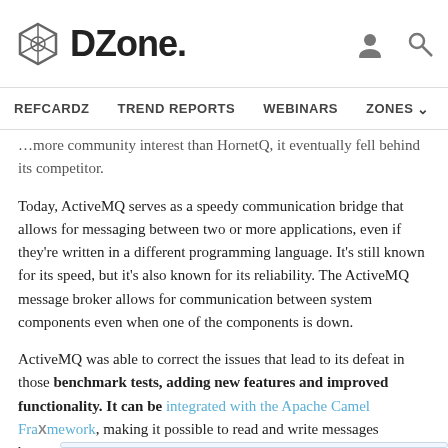DZone.
REFCARDZ   TREND REPORTS   WEBINARS   ZONES
...more community interest than HornetQ, it eventually fell behind its competitor.
Today, ActiveMQ serves as a speedy communication bridge that allows for messaging between two or more applications, even if they're written in a different programming language. It's still known for its speed, but it's also known for its reliability. The ActiveMQ message broker allows for communication between system components even when one of the components is down.
ActiveMQ was able to correct the issues that lead to its defeat in those benchmark tests, adding new features and improved functionality. It can be integrated with the Apache Camel Framework, making it possible to read and write messages between the two systems.
New features have been added with every iteration of ActiveMQ, which have helped to improve its speed and its flexibility. These features include STOMP and UDP support, mirrored queues, and broker clustering. It's